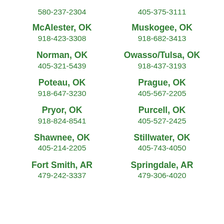580-237-2304
405-375-3111
McAlester, OK
918-423-3308
Muskogee, OK
918-682-3413
Norman, OK
405-321-5439
Owasso/Tulsa, OK
918-437-3193
Poteau, OK
918-647-3230
Prague, OK
405-567-2205
Pryor, OK
918-824-8541
Purcell, OK
405-527-2425
Shawnee, OK
405-214-2205
Stillwater, OK
405-743-4050
Fort Smith, AR
479-242-3337
Springdale, AR
479-306-4020